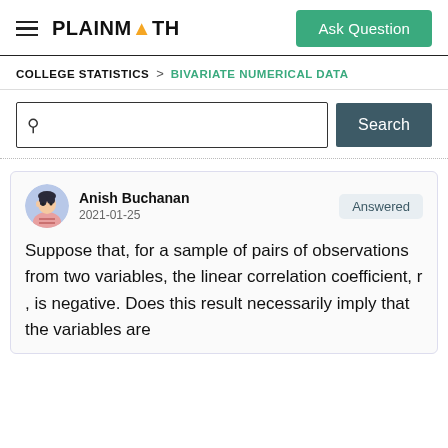PLAINMATH — Ask Question
COLLEGE STATISTICS > BIVARIATE NUMERICAL DATA
Search
Anish Buchanan
2021-01-25
Answered
Suppose that, for a sample of pairs of observations from two variables, the linear correlation coefficient, r , is negative. Does this result necessarily imply that the variables are